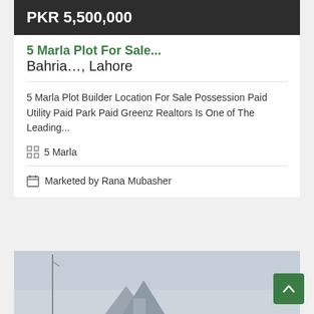PKR 5,500,000
5 Marla Plot For Sale...
Bahria…, Lahore
5 Marla Plot Builder Location For Sale Possession Paid Utility Paid Park Paid Greenz Realtors Is One of The Leading...
5 Marla
Marketed by Rana Mubasher
[Figure (photo): Outdoor photo showing a structure or building silhouette against a grey/hazy sky, with a pole or mast visible on the left]